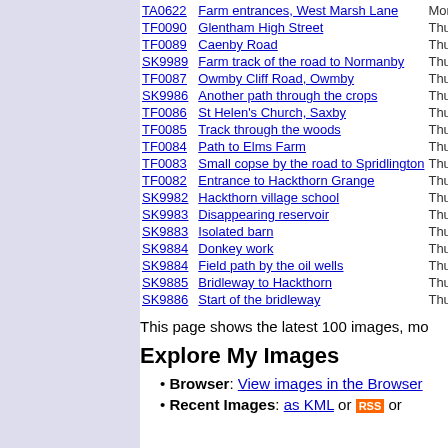TA0622 Farm entrances, West Marsh Lane Mon,
TF0090 Glentham High Street Thu,
TF0089 Caenby Road Thu,
SK9989 Farm track of the road to Normanby Thu,
TF0087 Owmby Cliff Road, Owmby Thu,
SK9986 Another path through the crops Thu,
TF0086 St Helen's Church, Saxby Thu,
TF0085 Track through the woods Thu,
TF0084 Path to Elms Farm Thu,
TF0083 Small copse by the road to Spridlington Thu,
TF0082 Entrance to Hackthorn Grange Thu,
SK9982 Hackthorn village school Thu,
SK9983 Disappearing reservoir Thu,
SK9883 Isolated barn Thu,
SK9884 Donkey work Thu,
SK9884 Field path by the oil wells Thu,
SK9885 Bridleway to Hackthorn Thu,
SK9886 Start of the bridleway Thu,
This page shows the latest 100 images, mo
Explore My Images
Browser: View images in the Browser
Recent Images: as KML or RSS or